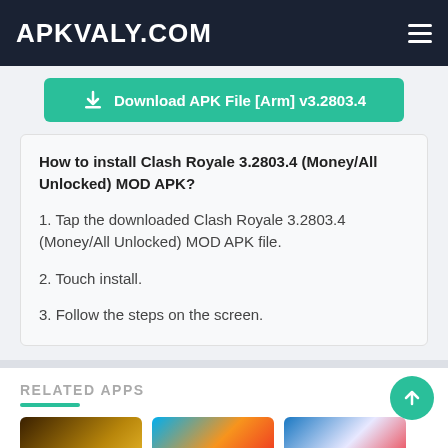APKVALY.COM
Download APK File [Arm] v3.2803.4
How to install Clash Royale 3.2803.4 (Money/All Unlocked) MOD APK?
1. Tap the downloaded Clash Royale 3.2803.4 (Money/All Unlocked) MOD APK file.
2. Touch install.
3. Follow the steps on the screen.
RELATED APPS
[Figure (photo): Three app thumbnail images in a row showing related apps]
[Figure (illustration): Circular teal back-to-top FAB button with upward arrow]